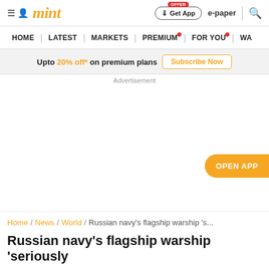mint — Get App | e-paper | search
HOME | LATEST | MARKETS | PREMIUM | FOR YOU | WA
Upto 20% off* on premium plans Subscribe Now
Advertisement
OPEN APP
Home / News / World / Russian navy's flagship warship 's...
Russian navy's flagship warship 'seriously